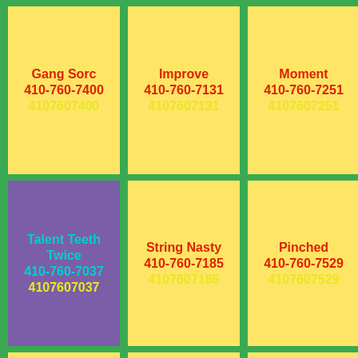Gang Sorc 410-760-7400 4107607400
Improve 410-760-7131 4107607131
Moment 410-760-7251 4107607251
Talent Teeth Twice 410-760-7037 4107607037
String Nasty 410-760-7185 4107607185
Pinched 410-760-7529 4107607529
Cleared 410-760-7896 4107607896
Animals 410-760-7444 4107607444
Sweaty Late 410-760-7719 4107607719
Trodden Already Test 410-760-7381
Winked Arch Trans 410-760-7774
Duddydums Have Keeper 410-760-7009